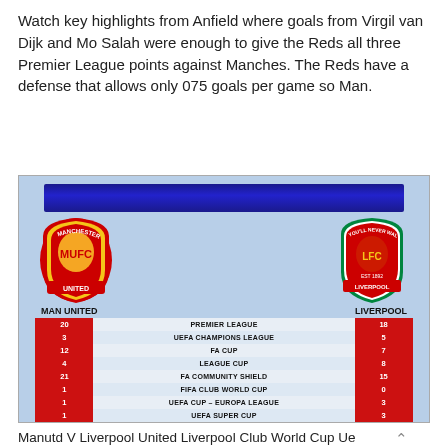Watch key highlights from Anfield where goals from Virgil van Dijk and Mo Salah were enough to give the Reds all three Premier League points against Manches. The Reds have a defense that allows only 075 goals per game so Man.
[Figure (infographic): Comparison infographic showing trophy counts for Man United vs Liverpool across competitions: Premier League 20 vs 18, UEFA Champions League 3 vs 5, FA Cup 12 vs 7, League Cup 4 vs 8, FA Community Shield 21 vs 15, FIFA Club World Cup 1 vs 0, UEFA Cup - Europa League 1 vs 3, UEFA Super Cup 1 vs 3, Wins 87 vs 74, Total Trophies 63 vs 59.]
Manutd V Liverpool United Liverpool Club World Cup Ue...